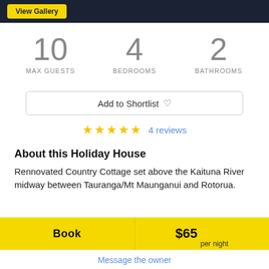[Figure (screenshot): Top navigation bar with dark blue background and yellow 'View Gallery' button]
10
MAX GUESTS
4
BEDROOMS
2
BATHROOMS
Add to Shortlist ♡
★★★★★  4 reviews
About this Holiday House
Rennovated Country Cottage set above the Kaituna River midway between Tauranga/Mt Maunganui and Rotorua.
Book
$65 per night
Message the owner